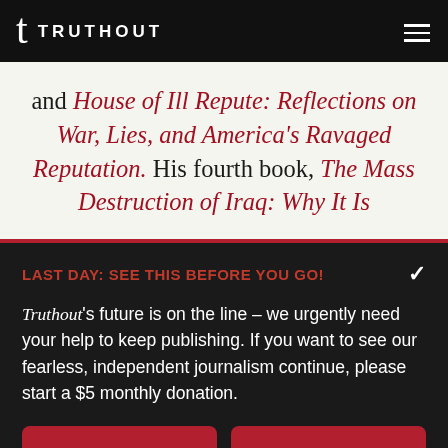TRUTHOUT
and House of Ill Repute: Reflections on War, Lies, and America's Ravaged Reputation. His fourth book, The Mass Destruction of Iraq: Why It Is
LAST DAY: SEE THIS BEFORE YOU GO!
Truthout's future is on the line – we urgently need your help to keep publishing. If you want to see our fearless, independent journalism continue, please start a $5 monthly donation.
DONATE
DONATE MONTHLY